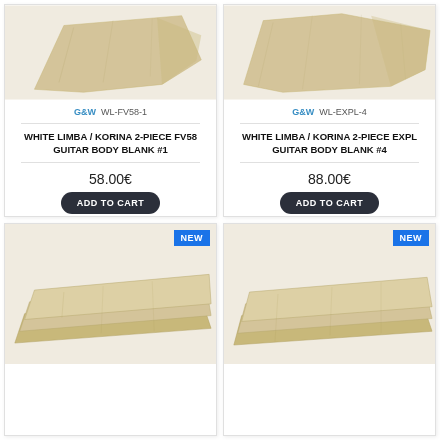[Figure (photo): White Limba / Korina 2-piece FV58 guitar body blank wood piece]
G&W  WL-FV58-1
WHITE LIMBA / KORINA 2-PIECE FV58 GUITAR BODY BLANK #1
58.00€
ADD TO CART
Buy Now
[Figure (photo): White Limba / Korina 2-piece EXPL guitar body blank wood piece]
G&W  WL-EXPL-4
WHITE LIMBA / KORINA 2-PIECE EXPL GUITAR BODY BLANK #4
88.00€
ADD TO CART
Buy Now
[Figure (photo): White Limba / Korina wood blanks stacked, NEW badge]
[Figure (photo): White Limba / Korina wood blanks stacked, NEW badge]